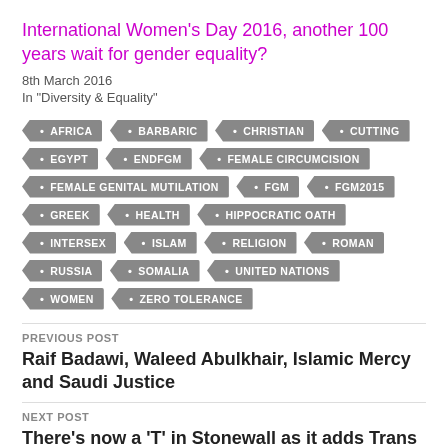International Women's Day 2016, another 100 years wait for gender equality?
8th March 2016
In "Diversity & Equality"
AFRICA
BARBARIC
CHRISTIAN
CUTTING
EGYPT
ENDFGM
FEMALE CIRCUMCISION
FEMALE GENITAL MUTILATION
FGM
FGM2015
GREEK
HEALTH
HIPPOCRATIC OATH
INTERSEX
ISLAM
RELIGION
ROMAN
RUSSIA
SOMALIA
UNITED NATIONS
WOMEN
ZERO TOLERANCE
PREVIOUS POST
Raif Badawi, Waleed Abulkhair, Islamic Mercy and Saudi Justice
NEXT POST
There's now a 'T' in Stonewall as it adds Trans Rights to its Campaigns